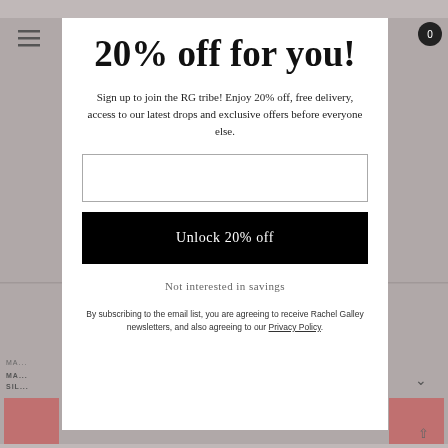[Figure (screenshot): Background website page showing hamburger menu icon, cart badge with '0', product text 'MA... SIL...' and pink product image tiles, partially obscured by modal overlay]
20% off for you!
Sign up to join the RG tribe! Enjoy 20% off, free delivery, access to our latest drops and exclusive offers before everyone else.
Unlock 20% off
Not interested in savings
By subscribing to the email list, you are agreeing to receive Rachel Galley newsletters, and also agreeing to our Privacy Policy.